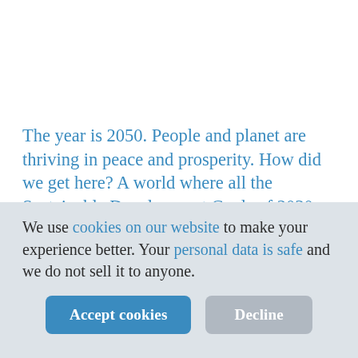The year is 2050. People and planet are thriving in peace and prosperity. How did we get here? A world where all the Sustainable Development Goals of 2030 have been realised. This series of illustrated stories imagines 'visions of water' inspired by real world projects and partners of
We use cookies on our website to make your experience better. Your personal data is safe and we do not sell it to anyone.
Accept cookies | Decline